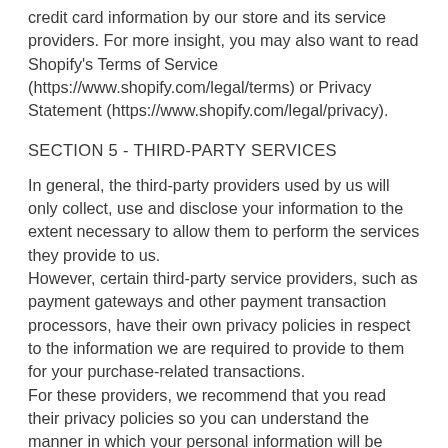credit card information by our store and its service providers. For more insight, you may also want to read Shopify's Terms of Service (https://www.shopify.com/legal/terms) or Privacy Statement (https://www.shopify.com/legal/privacy).
SECTION 5 - THIRD-PARTY SERVICES
In general, the third-party providers used by us will only collect, use and disclose your information to the extent necessary to allow them to perform the services they provide to us.
However, certain third-party service providers, such as payment gateways and other payment transaction processors, have their own privacy policies in respect to the information we are required to provide to them for your purchase-related transactions.
For these providers, we recommend that you read their privacy policies so you can understand the manner in which your personal information will be handled by these providers. In particular, remember that certain providers may be located